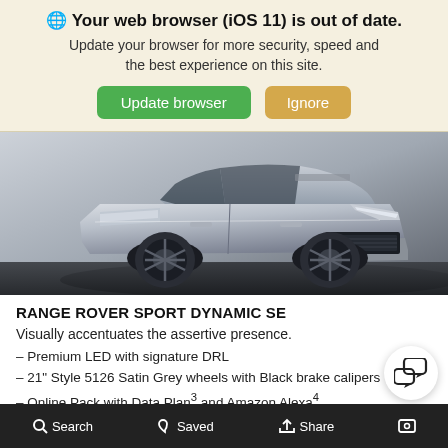🌐 Your web browser (iOS 11) is out of date. Update your browser for more security, speed and the best experience on this site.
Update browser | Ignore
[Figure (photo): Silver Range Rover Sport SUV photographed front-three-quarter view against a grey studio background]
RANGE ROVER SPORT DYNAMIC SE
Visually accentuates the assertive presence.
– Premium LED with signature DRL
– 21" Style 5126 Satin Grey wheels with Black brake calipers
– Online Pack with Data Plan3 and Amazon Alexa4
– Perforated Windsor leather seats
Search   Saved   Share